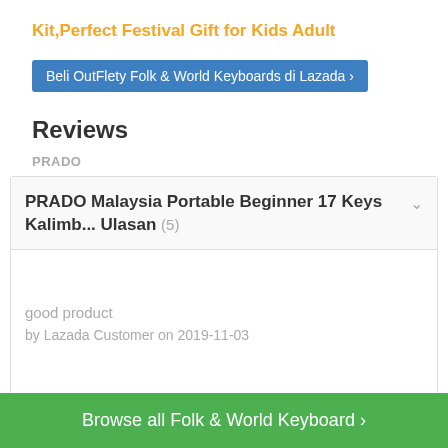Kit,Perfect Festival Gift for Kids Adult
Beli OutFlety Folk & World Keyboards di Lazada ›
Reviews
PRADO
PRADO Malaysia Portable Beginner 17 Keys Kalimb... Ulasan (5)
good product
by Lazada Customer on 2019-11-03
Good quality, so fast delivery. ( delivery staff also
Browse all Folk & World Keyboard ›